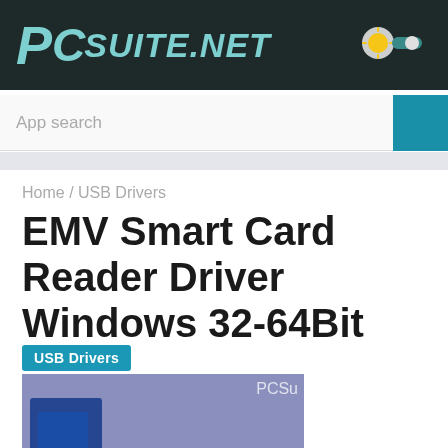PCSuite.NET
App search
Home / USB Drivers
EMV Smart Card Reader Driver Windows 32-64Bit
USB Drivers
[Figure (photo): EMV Smart Card Reader product image with PCSuite watermark on purple/blue background]